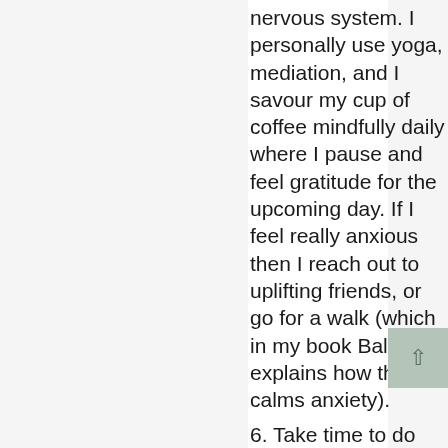nervous system. I personally use yoga, mediation, and I savour my cup of coffee mindfully daily where I pause and feel gratitude for the upcoming day. If I feel really anxious then I reach out to uplifting friends, or go for a walk (which in my book Balance explains how this calms anxiety).
6. Take time to do